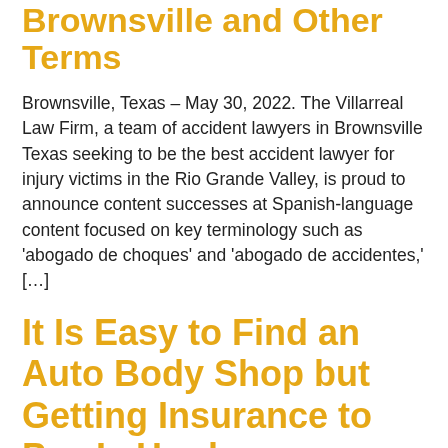Brownsville and Other Terms
Brownsville, Texas – May 30, 2022. The Villarreal Law Firm, a team of accident lawyers in Brownsville Texas seeking to be the best accident lawyer for injury victims in the Rio Grande Valley, is proud to announce content successes at Spanish-language content focused on key terminology such as 'abogado de choques' and 'abogado de accidentes,' […]
It Is Easy to Find an Auto Body Shop but Getting Insurance to Pay Is Hard
When you own a vehicle of any description, you have to take out insurance. In most cases, it makes sense to have fully comprehensive insurance which will cover you for any damage suffered by your car, whoever was responsible for the accident that caused it. So, if a car accident is your fault,